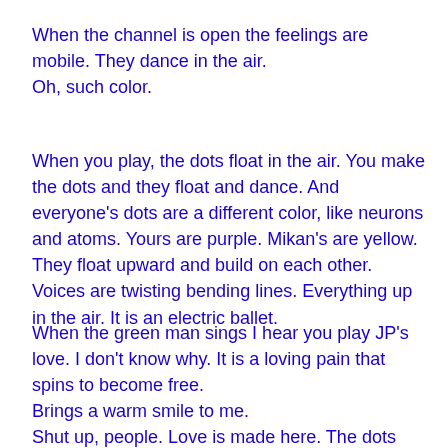When the channel is open the feelings are mobile. They dance in the air.
Oh, such color.
When you play, the dots float in the air. You make the dots and they float and dance. And everyone's dots are a different color, like neurons and atoms. Yours are purple. Mikan's are yellow. They float upward and build on each other. Voices are twisting bending lines. Everything up in the air. It is an electric ballet.
When the green man sings I hear you play JP's love. I don't know why. It is a loving pain that spins to become free.
Brings a warm smile to me.
Shut up, people. Love is made here. The dots disappear.